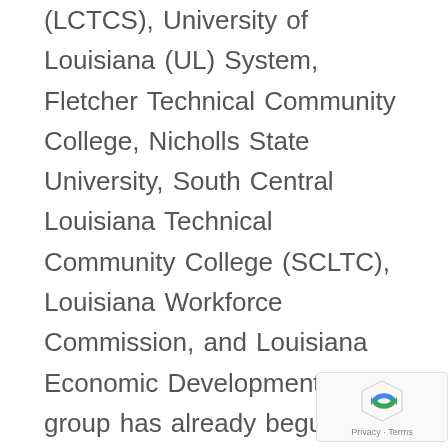(LCTCS), University of Louisiana (UL) System, Fletcher Technical Community College, Nicholls State University, South Central Louisiana Technical Community College (SCLTC), Louisiana Workforce Commission, and Louisiana Economic Development. The group has already begun to work on a plan to coordinate and strengthen the higher education institutions engaged in the education and training of students for jobs in deepwater exploration and production.